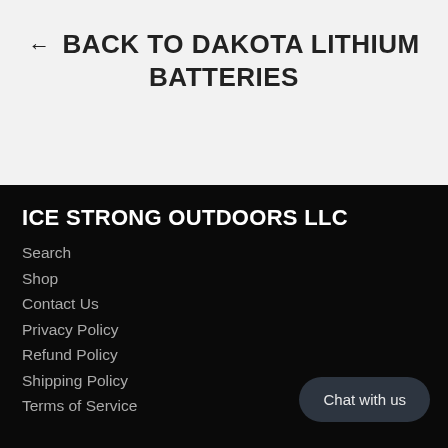← Back to Dakota Lithium Batteries
Ice Strong Outdoors LLC
Search
Shop
Contact Us
Privacy Policy
Refund Policy
Shipping Policy
Terms of Service
Chat with us